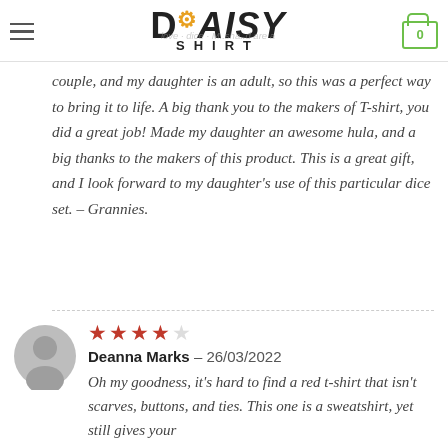Daisy Shirt
couple, and my daughter is an adult, so this was a perfect way to bring it to life. A big thank you to the makers of T-shirt, you did a great job! Made my daughter an awesome hula, and a big thanks to the makers of this product. This is a great gift, and I look forward to my daughter's use of this particular dice set. – Grannies.
Deanna Marks – 26/03/2022 Oh my goodness, it's hard to find a red t-shirt that isn't scarves, buttons, and ties. This one is a sweatshirt, yet still gives your